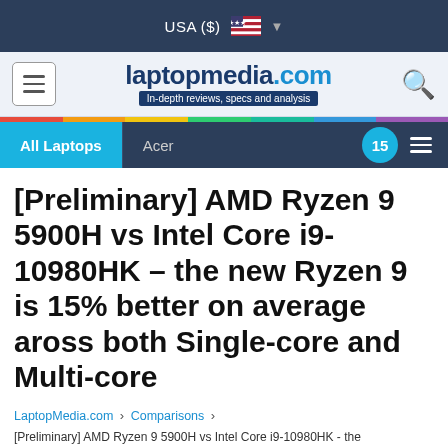USA ($)
[Figure (logo): laptopmedia.com logo with tagline 'In-depth reviews, specs and analysis']
All Laptops | Acer | 15
[Preliminary] AMD Ryzen 9 5900H vs Intel Core i9-10980HK – the new Ryzen 9 is 15% better on average aross both Single-core and Multi-core
LaptopMedia.com > Comparisons > [Preliminary] AMD Ryzen 9 5900H vs Intel Core i9-10980HK - the